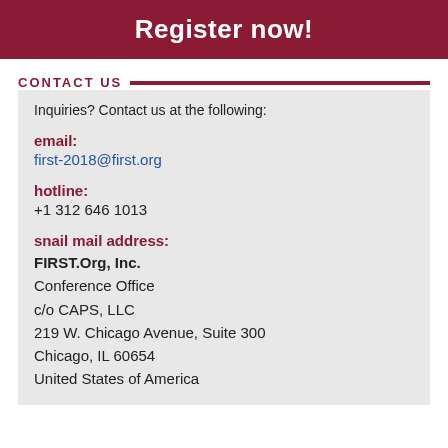Register now!
CONTACT US
Inquiries? Contact us at the following:
email:
first-2018@first.org
hotline:
+1 312 646 1013
snail mail address:
FIRST.Org, Inc.
Conference Office
c/o CAPS, LLC
219 W. Chicago Avenue, Suite 300
Chicago, IL 60654
United States of America